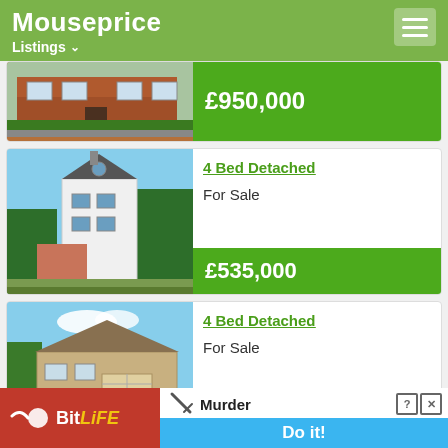Mouseprice Listings
[Figure (photo): Red brick house with green hedge, partial view at top of page]
£950,000
[Figure (photo): White 4-bed detached house with tall peaked roof, blue sky background]
4 Bed Detached
For Sale
£535,000
[Figure (photo): Stone/brick 4-bed detached house with garage, driveway, blue sky]
4 Bed Detached
For Sale
[Figure (screenshot): BitLife advertisement banner with Murder theme and Do it! button]